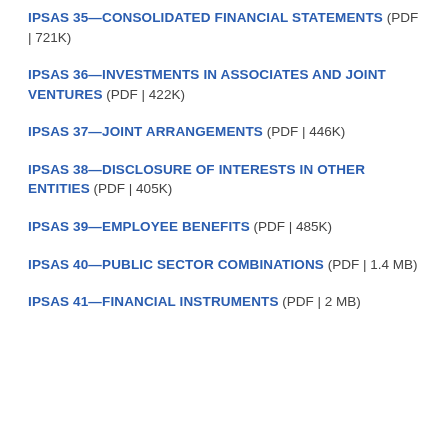IPSAS 35—CONSOLIDATED FINANCIAL STATEMENTS (PDF | 721K)
IPSAS 36—INVESTMENTS IN ASSOCIATES AND JOINT VENTURES (PDF | 422K)
IPSAS 37—JOINT ARRANGEMENTS (PDF | 446K)
IPSAS 38—DISCLOSURE OF INTERESTS IN OTHER ENTITIES (PDF | 405K)
IPSAS 39—EMPLOYEE BENEFITS (PDF | 485K)
IPSAS 40—PUBLIC SECTOR COMBINATIONS (PDF | 1.4 MB)
IPSAS 41—FINANCIAL INSTRUMENTS (PDF | 2 MB)